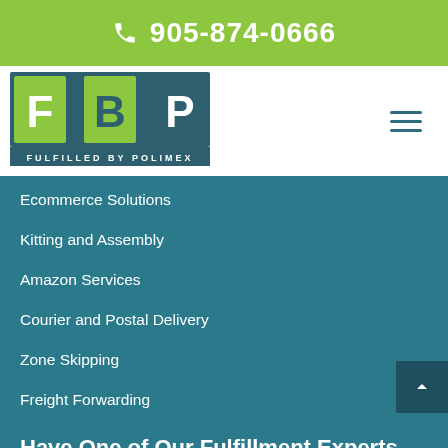905-874-0666
[Figure (logo): FBP Fulfilled By Polimex logo with green and teal tiles showing letters F, B, P]
Ecommerce Solutions
Kitting and Assembly
Amazon Services
Courier and Postal Delivery
Zone Skipping
Freight Forwarding
Have One of Our Fulfillment Experts Call You!